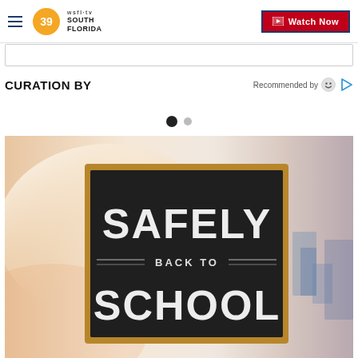WSFL-TV South Florida — Watch Now
CURATION BY
Recommended by
[Figure (screenshot): Pagination dots: one large filled black dot and one smaller grey dot]
[Figure (photo): A chalkboard graphic on a blurred classroom/school bus background showing the text 'SAFELY BACK TO SCHOOL' in chalk-style lettering with decorative lines]